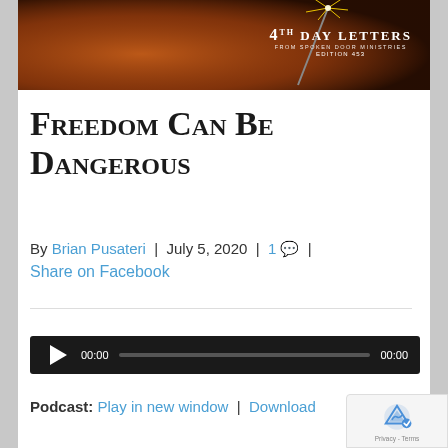[Figure (photo): Header image of a hand holding a sparkler with warm orange/brown tones. Text overlay reads '4TH DAY LETTERS FROM SPOKEN DOOR MINISTRIES EDITION 453']
Freedom Can Be Dangerous
By Brian Pusateri | July 5, 2020 | 1 [comment icon] | Share on Facebook
[Figure (screenshot): Audio player widget with play button, time display 00:00, progress bar, and end time 00:00 on dark background]
[Figure (logo): reCAPTCHA badge with Google reCAPTCHA icon and Privacy - Terms text]
Podcast: Play in new window | Download